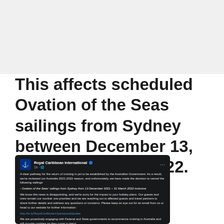This affects scheduled Ovation of the Seas sailings from Sydney between December 13, 2021 - March 31, 2022.
[Figure (screenshot): Facebook post from Royal Caribbean International announcing cancellation of Ovation of the Seas sailings from Sydney from 13 December 2021 to 31 March 2022, citing no clear pathway for return of cruising established by Australian Government.]